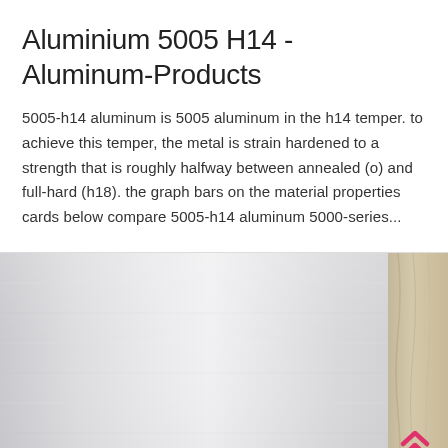Aluminium 5005 H14 - Aluminum-Products
5005-h14 aluminum is 5005 aluminum in the h14 temper. to achieve this temper, the metal is strain hardened to a strength that is roughly halfway between annealed (o) and full-hard (h18). the graph bars on the material properties cards below compare 5005-h14 aluminum 5000-series...
[Figure (photo): Photo of an aluminium sheet (brushed metallic silver surface) with a partial view of a person or textile on the right edge.]